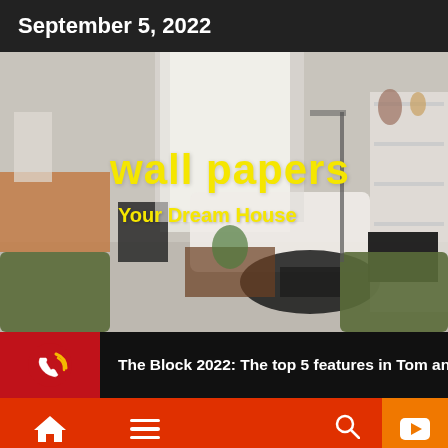September 5, 2022
[Figure (photo): Interior living room with two green leather chairs, white sofa, wooden coffee table, and bookshelves. Overlaid with yellow text 'wall papers' and 'Your Dream House']
The Block 2022: The top 5 features in Tom an
Home /